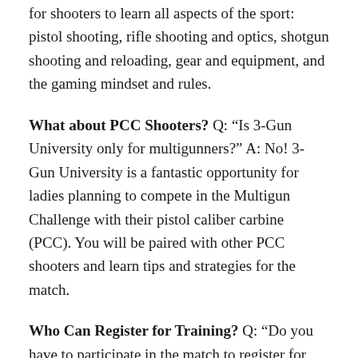for shooters to learn all aspects of the sport: pistol shooting, rifle shooting and optics, shotgun shooting and reloading, gear and equipment, and the gaming mindset and rules.
What about PCC Shooters? Q: "Is 3-Gun University only for multigunners?" A: No! 3-Gun University is a fantastic opportunity for ladies planning to compete in the Multigun Challenge with their pistol caliber carbine (PCC). You will be paired with other PCC shooters and learn tips and strategies for the match.
Who Can Register for Training? Q: "Do you have to participate in the match to register for 3GU?" A: Yes, the clinics are for competitors registered in the Multigun Challenge. NOTE: 3GU assumes that participants have familiarity with their firearm(s). While fundamentals will be addressed in clinics, shooters should be able to